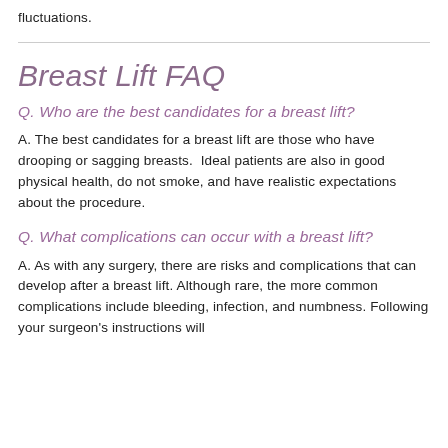fluctuations.
Breast Lift FAQ
Q. Who are the best candidates for a breast lift?
A. The best candidates for a breast lift are those who have drooping or sagging breasts. Ideal patients are also in good physical health, do not smoke, and have realistic expectations about the procedure.
Q. What complications can occur with a breast lift?
A. As with any surgery, there are risks and complications that can develop after a breast lift. Although rare, the more common complications include bleeding, infection, and numbness. Following your surgeon's instructions will